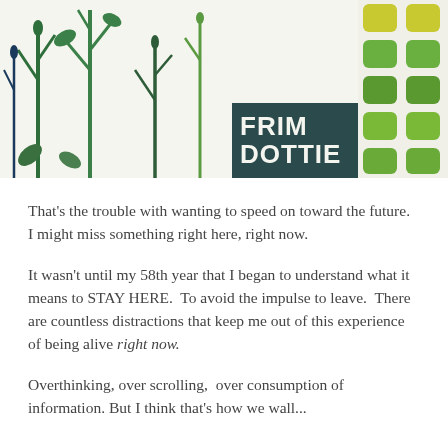[Figure (photo): Photograph of hand-painted artwork: left panel shows green painted plant/leaf stems on white background; center panel is a dark teal painted block with white block letters reading 'FRIM DOTTIE'; right panel shows green painted blob/dot shapes on white background.]
That's the trouble with wanting to speed on toward the future.  I might miss something right here, right now.
It wasn't until my 58th year that I began to understand what it means to STAY HERE.  To avoid the impulse to leave.  There are countless distractions that keep me out of this experience of being alive right now.
Overthinking, over scrolling,  over consumption of information. But I think that's how we wall...